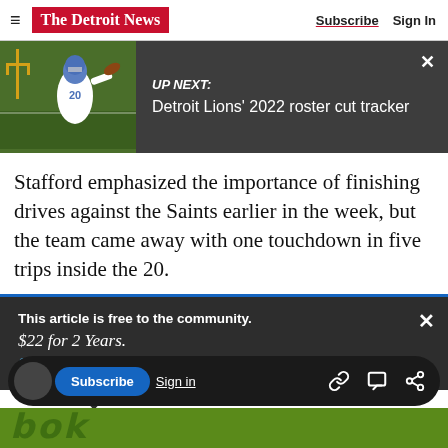The Detroit News — Subscribe | Sign In
[Figure (screenshot): UP NEXT: Detroit Lions' 2022 roster cut tracker — dark banner with football player image]
Stafford emphasized the importance of finishing drives against the Saints earlier in the week, but the team came away with one touchdown in five trips inside the 20.
This article is free to the community. $22 for 2 Years. Subscribe now